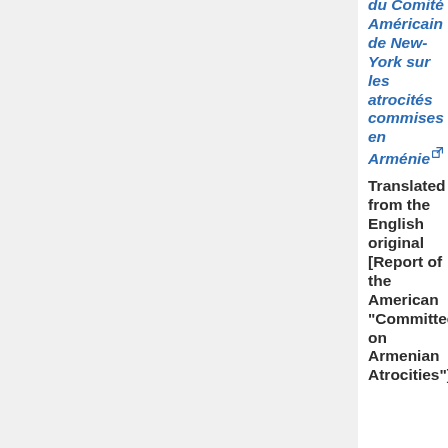du Comité Américain de New-York sur les atrocités commises en Arménie [external link]
Translated from the English original [Report of the American "Committee on Armenian Atrocities"]